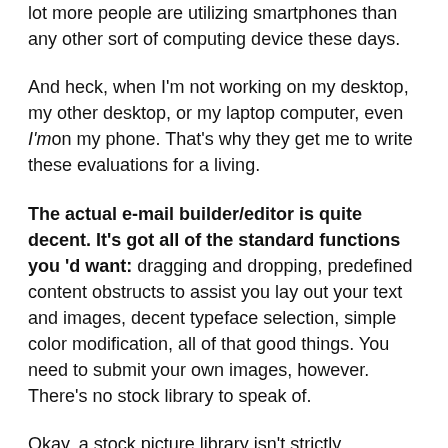lot more people are utilizing smartphones than any other sort of computing device these days.
And heck, when I'm not working on my desktop, my other desktop, or my laptop computer, even I'mon my phone. That's why they get me to write these evaluations for a living.
The actual e-mail builder/editor is quite decent. It's got all of the standard functions you 'd want: dragging and dropping, predefined content obstructs to assist you lay out your text and images, decent typeface selection, simple color modification, all of that good things. You need to submit your own images, however. There's no stock library to speak of.
Okay, a stock picture library isn't strictly